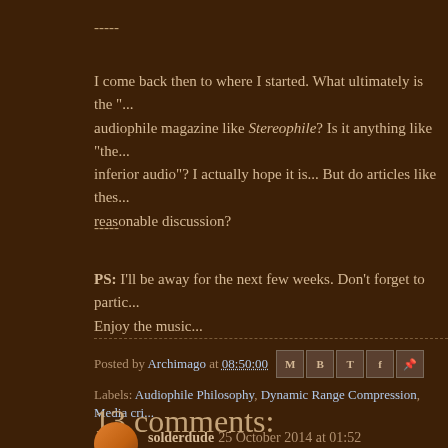-----
I come back then to where I started. What ultimately is the "..." audiophile magazine like Stereophile? Is it anything like "the... inferior audio"? I actually hope it is... But do articles like thes... reasonable discussion?
-----
PS: I'll be away for the next few weeks. Don't forget to partic... Enjoy the music...
Posted by Archimago at 08:50:00
Labels: Audiophile Philosophy, Dynamic Range Compression, Media cri...
13 comments:
solderdude 25 October 2014 at 01:52